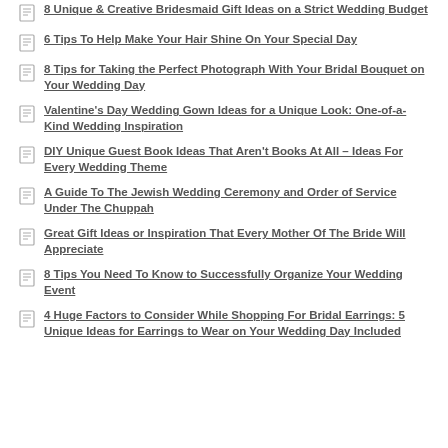8 Unique & Creative Bridesmaid Gift Ideas on a Strict Wedding Budget
6 Tips To Help Make Your Hair Shine On Your Special Day
8 Tips for Taking the Perfect Photograph With Your Bridal Bouquet on Your Wedding Day
Valentine's Day Wedding Gown Ideas for a Unique Look: One-of-a-Kind Wedding Inspiration
DIY Unique Guest Book Ideas That Aren't Books At All – Ideas For Every Wedding Theme
A Guide To The Jewish Wedding Ceremony and Order of Service Under The Chuppah
Great Gift Ideas or Inspiration That Every Mother Of The Bride Will Appreciate
8 Tips You Need To Know to Successfully Organize Your Wedding Event
4 Huge Factors to Consider While Shopping For Bridal Earrings: 5 Unique Ideas for Earrings to Wear on Your Wedding Day Included